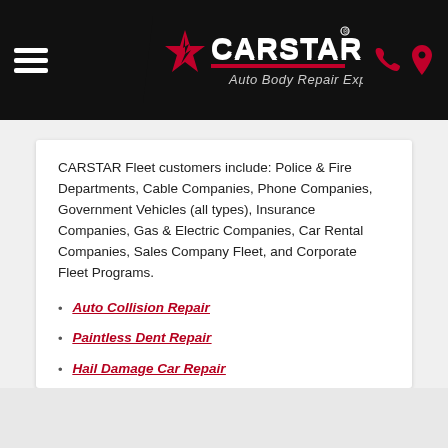CARSTAR Auto Body Repair Experts
CARSTAR Fleet customers include: Police & Fire Departments, Cable Companies, Phone Companies, Government Vehicles (all types), Insurance Companies, Gas & Electric Companies, Car Rental Companies, Sales Company Fleet, and Corporate Fleet Programs.
Auto Collision Repair
Paintless Dent Repair
Hail Damage Car Repair
24/7 Accident Assistance
Fleet Services